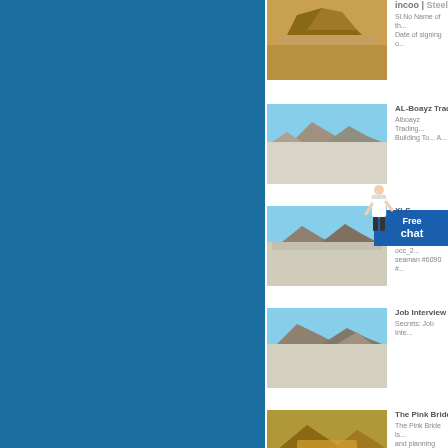[Figure (screenshot): Website listing page showing quarry/mining equipment images with titles and descriptions. Left panel is solid blue. Right panel shows list items with thumbnail images of quarry/mining scenes.]
incoo | Sl.No Name of th... Date of signing o...
AL-Boayz Trad... Alboayz Trading... Building To... A...
XLS on Friday - Ce... occ_2011 occ_2... seaman #6090 #...
Job Interview ... Secrets: Job Inte...
The Pink Bride... The Pink Bride is... and planning ad...